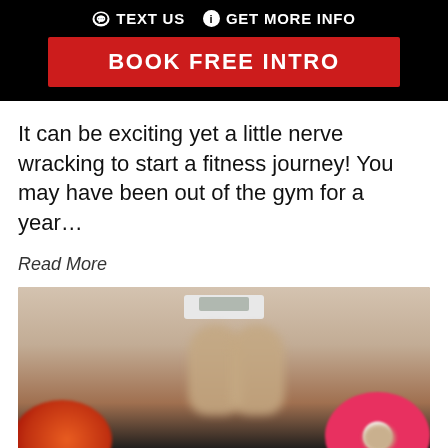TEXT US  GET MORE INFO
BOOK FREE INTRO
It can be exciting yet a little nerve wracking to start a fitness journey! You may have been out of the gym for a year...
Read More
[Figure (photo): Person standing on a weight scale holding a pomegranate in one hand and a pink frosted donut in the other hand, blurred background]